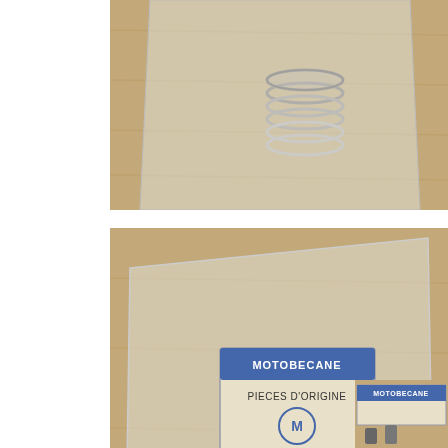[Figure (photo): Top photo showing a metal coil spring inside a clear plastic bag, on a wooden surface background. Partial view, cropped at top.]
[Figure (photo): Middle photo showing a Motobecane/Motoconfort parts bag (clear plastic) with printed 'MOTOBECANE' text on sides, containing a label card reading 'MOTOBECANE / PIECES D'ORIGINE / [logo] / 5 / 14107 / MOTOCONFORT' and a metal coil spring visible inside.]
[Figure (photo): Bottom partial photo showing a Motobecane label/tag with 'MOTOBECANE' text and two small cylindrical metal parts.]